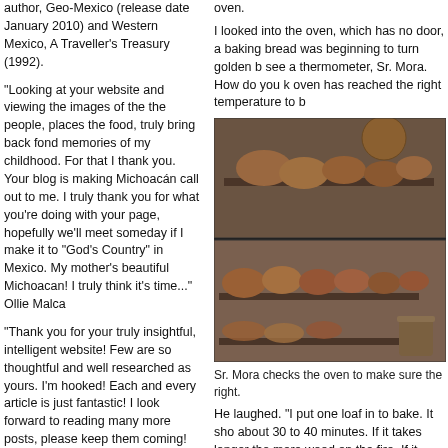author, Geo-Mexico (release date January 2010) and Western Mexico, A Traveller's Treasury (1992).
"Looking at your website and viewing the images of the the people, places the food, truly bring back fond memories of my childhood. For that I thank you. Your blog is making Michoacán call out to me. I truly thank you for what you're doing with your page, hopefully we'll meet someday if I make it to "God's Country" in Mexico. My mother's beautiful Michoacan! I truly think it's time..." Ollie Malca
"Thank you for your truly insightful, intelligent website! Few are so thoughtful and well researched as yours. I'm hooked! Each and every article is just fantastic! I look forward to reading many more posts, please keep them coming! xo"...MexChic
Praise from the South China Morning Post:
"American-born Cristina Potters, like British cookbook writer Diana Kennedy who preceded her, looks at the cuisine of her adopted country with the fresh eyes of an immigrant but also with the knowledge of a long-time resident of Mexico..." South China Morning Post, 6/24/09.
oven.
I looked into the oven, which has no door, a baking bread was beginning to turn golden b see a thermometer, Sr. Mora. How do you k oven has reached the right temperature to b
[Figure (photo): Two photos of a traditional bakery/bread oven. Top photo shows round bread loaves on shelves inside a stone/brick oven with a clay vessel. Bottom photo shows more bread loaves on wooden shelves with a clay pot nearby.]
Sr. Mora checks the oven to make sure the right.
He laughed. "I put one loaf in to bake. It sho about 30 to 40 minutes. If it takes longer tha more wood on the fire. If it bakes too quickly, the temperature to go down. Then I try again I've been doing this for so long that I can alr when the temperature is right, but I still bake be sure."
I asked Sr. Mora if there were other tachigu